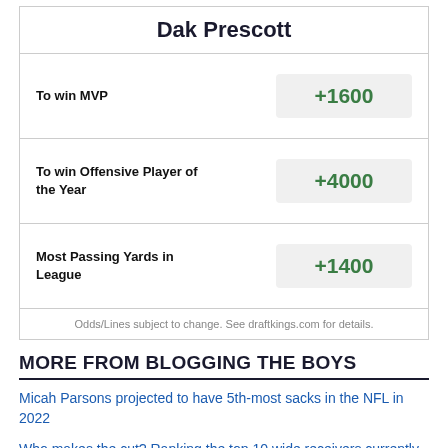Dak Prescott
| Bet Type | Odds |
| --- | --- |
| To win MVP | +1600 |
| To win Offensive Player of the Year | +4000 |
| Most Passing Yards in League | +1400 |
Odds/Lines subject to change. See draftkings.com for details.
MORE FROM BLOGGING THE BOYS
Micah Parsons projected to have 5th-most sacks in the NFL in 2022
Who makes the cut? Ranking the top 10 wide receivers currently on the Cowboys roster
DaRon Bland continues to climb the depth chart, could be